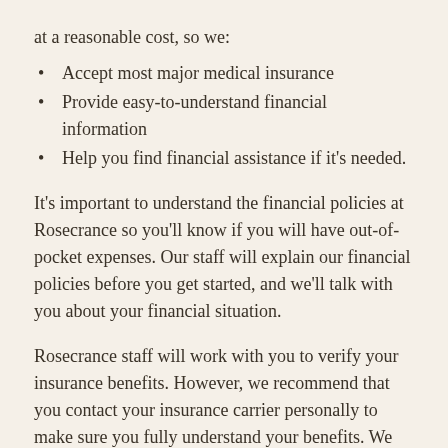at a reasonable cost, so we:
Accept most major medical insurance
Provide easy-to-understand financial information
Help you find financial assistance if it's needed.
It's important to understand the financial policies at Rosecrance so you'll know if you will have out-of-pocket expenses. Our staff will explain our financial policies before you get started, and we'll talk with you about your financial situation.
Rosecrance staff will work with you to verify your insurance benefits. However, we recommend that you contact your insurance carrier personally to make sure you fully understand your benefits. We accept a variety of plans from the following insurance providers and more: